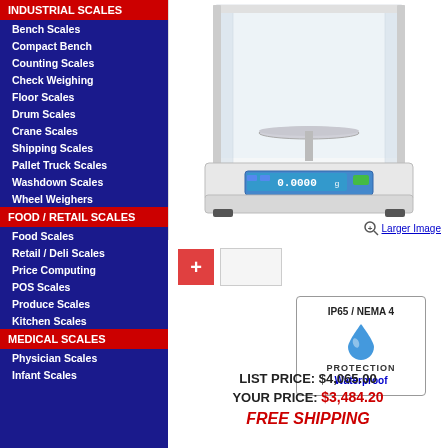INDUSTRIAL SCALES
Bench Scales
Compact Bench
Counting Scales
Check Weighing
Floor Scales
Drum Scales
Crane Scales
Shipping Scales
Pallet Truck Scales
Washdown Scales
Wheel Weighers
FOOD / RETAIL SCALES
Food Scales
Retail / Deli Scales
Price Computing
POS Scales
Produce Scales
Kitchen Scales
MEDICAL SCALES
Physician Scales
Infant Scales
[Figure (photo): Analytical balance scale displaying 0.0000 g on digital screen, with glass wind shield enclosure]
[Figure (other): Plus icon and thumbnail image selector]
[Figure (infographic): IP65 / NEMA 4 waterproof protection badge with water droplet icon]
LIST PRICE: $4,065.00
YOUR PRICE: $3,484.20
FREE SHIPPING